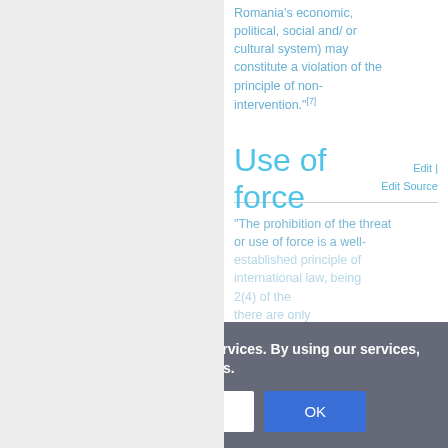Romania's economic, political, social and/or cultural system) may constitute a violation of the principle of non-intervention."[7]
Use of force
"The prohibition of the threat or use of force is a well-established principle of international law, being ... 2(4) of the ... there are only
Cookies help us deliver our services. By using our services, you agree to our use of cookies.